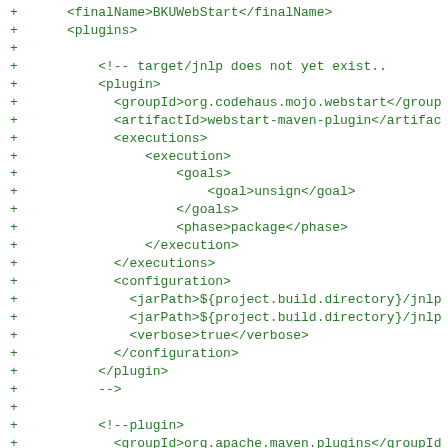+     <finalName>BKUWebStart</finalName>
+     <plugins>
+
+         <!-- target/jnlp does not yet exist..
+         <plugin>
+           <groupId>org.codehaus.mojo.webstart</groupId>
+           <artifactId>webstart-maven-plugin</artifactId>
+           <executions>
+               <execution>
+                   <goals>
+                       <goal>unsign</goal>
+                   </goals>
+                   <phase>package</phase>
+               </execution>
+           </executions>
+           <configuration>
+             <jarPath>${project.build.directory}/jnlp
+             <jarPath>${project.build.directory}/jnlp
+             <verbose>true</verbose>
+           </configuration>
+         </plugin>
+         -->
+
+         <!--plugin>
+           <groupId>org.apache.maven.plugins</groupId>
+           <artifactId>maven-war-plugin</artifactId>
+           <configuration>
+             <overlays>
+               <overlay>
+                 <groupId>at.gv.egiz</groupId>